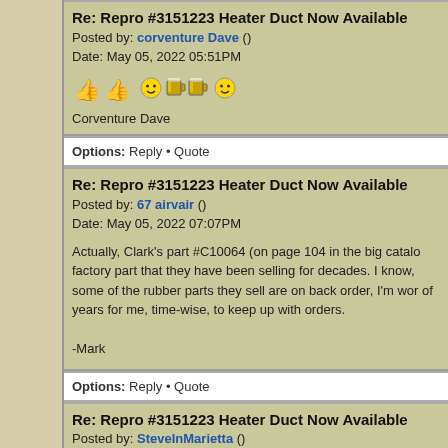Re: Repro #3151223 Heater Duct Now Available
Posted by: corventure Dave ()
Date: May 05, 2022 05:51PM
[Figure (illustration): Two thumbs up emoji icons and three smiley face emoji icons]
Corventure Dave
Options: Reply • Quote
Re: Repro #3151223 Heater Duct Now Available
Posted by: 67 airvair ()
Date: May 05, 2022 07:07PM
Actually, Clark's part #C10064 (on page 104 in the big catalo factory part that they have been selling for decades. I know, some of the rubber parts they sell are on back order, I'm wor of years for me, time-wise, to keep up with orders.

-Mark
Options: Reply • Quote
Re: Repro #3151223 Heater Duct Now Available
Posted by: SteveInMarietta ()
Date: May 05, 2022 09:18PM
Hi Mark,
I was wondering who had been making the C10064 boots; I s been very difficult to make out of the more durable ureth